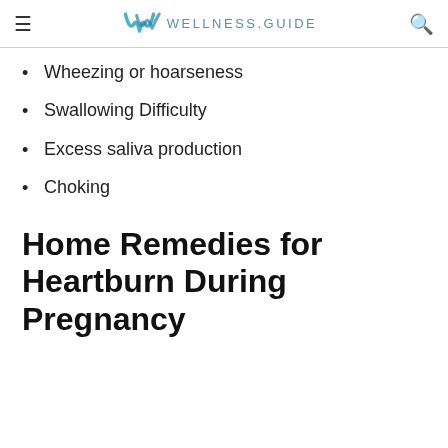WELLNESS.GUIDE
Wheezing or hoarseness
Swallowing Difficulty
Excess saliva production
Choking
Home Remedies for Heartburn During Pregnancy